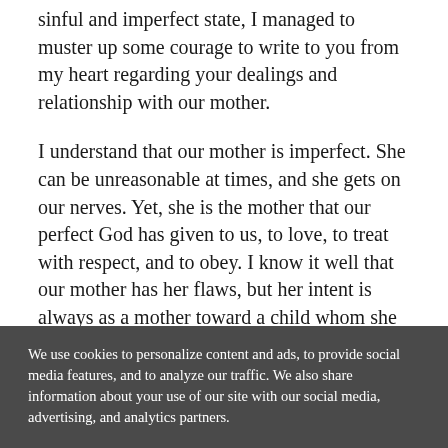sinful and imperfect state, I managed to muster up some courage to write to you from my heart regarding your dealings and relationship with our mother.
I understand that our mother is imperfect. She can be unreasonable at times, and she gets on our nerves. Yet, she is the mother that our perfect God has given to us, to love, to treat with respect, and to obey. I know it well that our mother has her flaws, but her intent is always as a mother toward a child whom she cares for. Perhaps we may never have the privilege of understanding fully why she does what she does. I fear that you
We use cookies to personalize content and ads, to provide social media features, and to analyze our traffic. We also share information about your use of our site with our social media, advertising, and analytics partners.